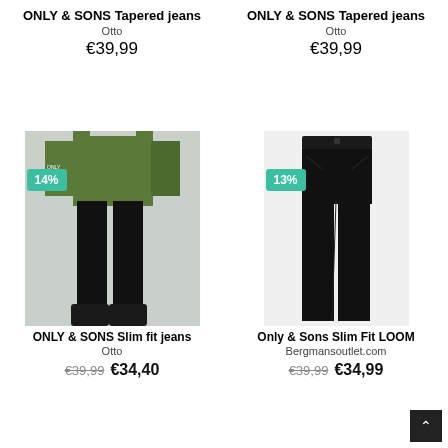ONLY & SONS Tapered jeans
Otto
€39,99
ONLY & SONS Tapered jeans
Otto
€39,99
[Figure (photo): Man wearing black slim/tapered jeans and olive green long-sleeve top with black boots, white background. Discount badge: 14%]
[Figure (photo): Black slim fit jeans on plain white background, no model. Discount badge: 13%]
ONLY & SONS Slim fit jeans
Otto
€39,99  €34,40
Only & Sons Slim Fit LOOM
Bergmansoutlet.com
€39,99  €34,99